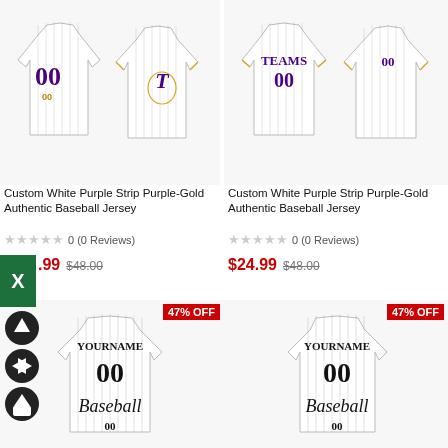[Figure (photo): Custom White Purple Strip Purple-Gold Authentic Baseball Jersey product image, two jerseys shown - front and back, white with purple pinstripes, purple and gold lettering]
Custom White Purple Strip Purple-Gold Authentic Baseball Jersey
0 (0 Reviews)
$24.99 $48.00
[Figure (photo): Custom White Purple Strip Purple-Gold Authentic Baseball Jersey product image, same jersey style second listing, 47% OFF badge]
Custom White Purple Strip Purple-Gold Authentic Baseball Jersey
0 (0 Reviews)
$24.99 $48.00
[Figure (photo): Custom white pinstripe baseball jersey with YOURNAME and 00 in black, Baseball script on front, 47% OFF badge]
[Figure (photo): Custom white pinstripe baseball jersey with YOURNAME and 00 in black, Baseball script on front, 47% OFF badge, second view]